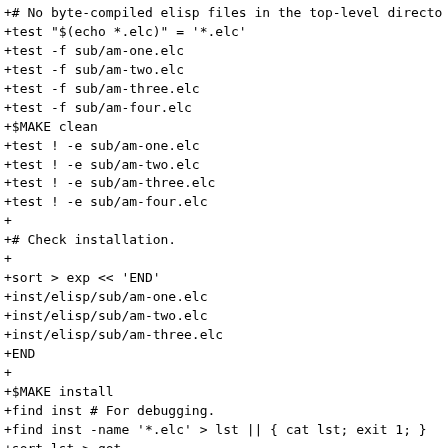+# No byte-compiled elisp files in the top-level director
+test "$(echo *.elc)" = '*.elc'
+test -f sub/am-one.elc
+test -f sub/am-two.elc
+test -f sub/am-three.elc
+test -f sub/am-four.elc
+$MAKE clean
+test ! -e sub/am-one.elc
+test ! -e sub/am-two.elc
+test ! -e sub/am-three.elc
+test ! -e sub/am-four.elc
+
+# Check installation.
+
+sort > exp << 'END'
+inst/elisp/sub/am-one.elc
+inst/elisp/sub/am-two.elc
+inst/elisp/sub/am-three.elc
+END
+
+$MAKE install
+find inst # For debugging.
+find inst -name '*.elc' > lst || { cat lst; exit 1; }
+sort lst > got
+
+cat exp
+cat got
+diff exp got
+
+# Also check VPATH builds and uninstall completeness.